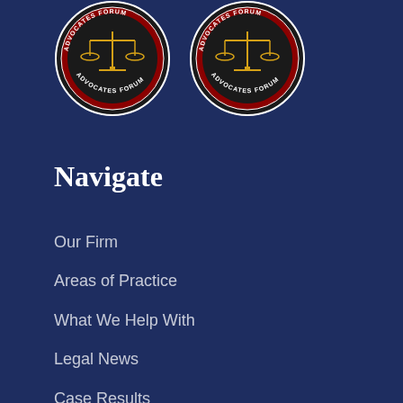[Figure (logo): Two circular Advocates Forum badges/seals with scales of justice imagery, dark background with red and gold accents]
Navigate
Our Firm
Areas of Practice
What We Help With
Legal News
Case Results
Legal Representation for LGBTQ+ Clients
Legal Representation for Transgender Clients